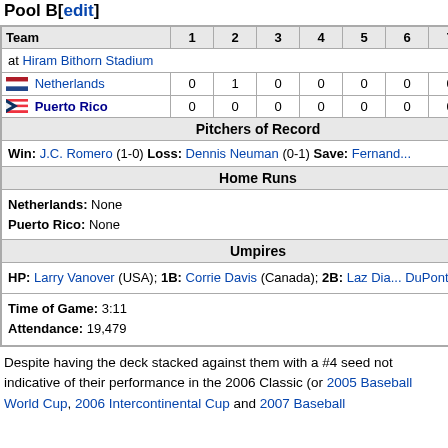Pool B[edit]
| Team | 1 | 2 | 3 | 4 | 5 | 6 | 7 | 8 |
| --- | --- | --- | --- | --- | --- | --- | --- | --- |
| at Hiram Bithorn Stadium |
| Netherlands | 0 | 1 | 0 | 0 | 0 | 0 | 0 | 0 |
| Puerto Rico | 0 | 0 | 0 | 0 | 0 | 0 | 0 | 3 |
Win: J.C. Romero (1-0) Loss: Dennis Neuman (0-1) Save: Fernando...
Netherlands: None
Puerto Rico: None
HP: Larry Vanover (USA); 1B: Corrie Davis (Canada); 2B: Laz Dia... DuPont (Canada)
Time of Game: 3:11
Attendance: 19,479
Despite having the deck stacked against them with a #4 seed not indicative of their performance in the 2006 Classic (or 2005 Baseball World Cup, 2006 Intercontinental Cup and 2007 Baseball